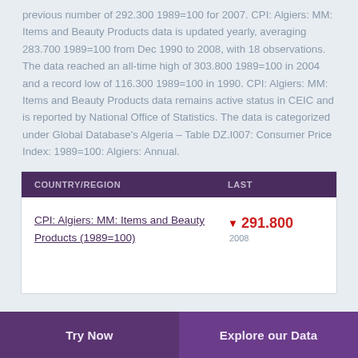previous number of 292.300 1989=100 for 2007. CPI: Algiers: MM: Items and Beauty Products data is updated yearly, averaging 283.700 1989=100 from Dec 1990 to 2008, with 18 observations. The data reached an all-time high of 303.800 1989=100 in 2004 and a record low of 116.300 1989=100 in 1990. CPI: Algiers: MM: Items and Beauty Products data remains active status in CEIC and is reported by National Office of Statistics. The data is categorized under Global Database's Algeria – Table DZ.I007: Consumer Price Index: 1989=100: Algiers: Annual.
| COUNTRY/REGION | LAST |
| --- | --- |
| CPI: Algiers: MM: Items and Beauty Products (1989=100) | ▼ 291.800
2008 |
Try Now   Explore our Data